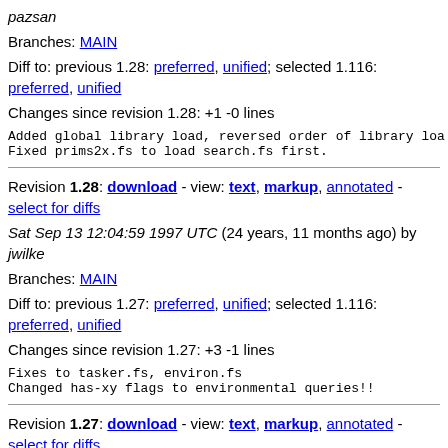pazsan
Branches: MAIN
Diff to: previous 1.28: preferred, unified; selected 1.116: preferred, unified
Changes since revision 1.28: +1 -0 lines
Added global library load, reversed order of library loa
Fixed prims2x.fs to load search.fs first.
Revision 1.28: download - view: text, markup, annotated - select for diffs
Sat Sep 13 12:04:59 1997 UTC (24 years, 11 months ago) by jwilke
Branches: MAIN
Diff to: previous 1.27: preferred, unified; selected 1.116: preferred, unified
Changes since revision 1.27: +3 -1 lines
Fixes to tasker.fs, environ.fs
Changed has-xy flags to environmental queries!!
Revision 1.27: download - view: text, markup, annotated - select for diffs
Wed May 21 20:39:37 1997 UTC (25 years, 3 months ago) by anton
Branches: MAIN